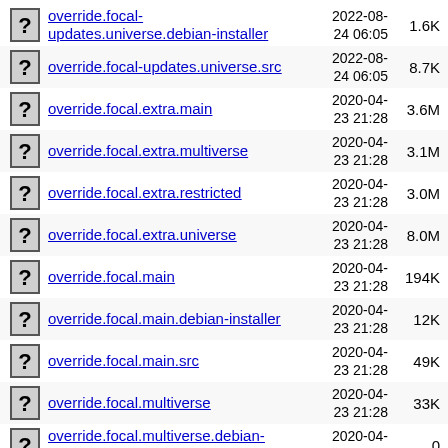override.focal-updates.universe.debian-installer  2022-08-24 06:05  1.6K
override.focal-updates.universe.src  2022-08-24 06:05  8.7K
override.focal.extra.main  2020-04-23 21:28  3.6M
override.focal.extra.multiverse  2020-04-23 21:28  3.1M
override.focal.extra.restricted  2020-04-23 21:28  3.0M
override.focal.extra.universe  2020-04-23 21:28  8.0M
override.focal.main  2020-04-23 21:28  194K
override.focal.main.debian-installer  2020-04-23 21:28  12K
override.focal.main.src  2020-04-23 21:28  49K
override.focal.multiverse  2020-04-23 21:28  33K
override.focal.multiverse.debian-installer  2020-04-23 21:28  0
override.focal.multiverse.src  2020-04-23 21:28  (truncated)